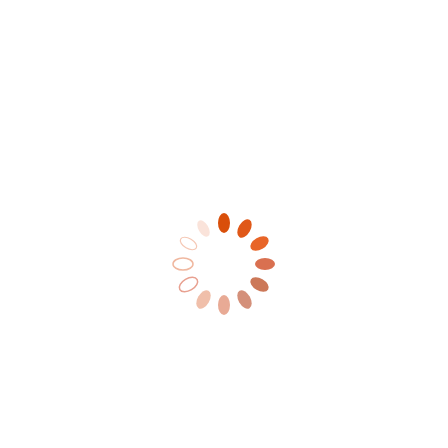[Figure (other): An orange loading spinner animation graphic — a ring of 12 oval/pill-shaped segments arranged in a circle, varying in color from dark solid orange at the top to very light/faded orange at the bottom-left, simulating a spinning loading indicator.]